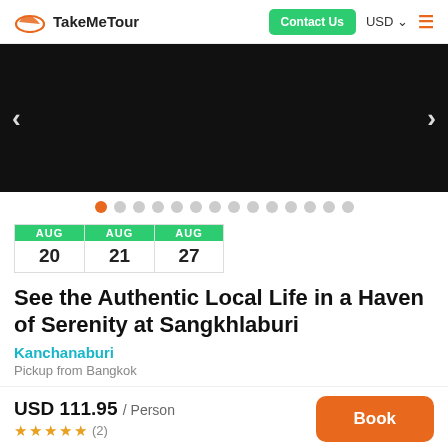TakeMeTour | Contact Us | USD | Menu
[Figure (photo): Black hero image carousel with left and right navigation arrows]
Carousel dot navigation, 14 dots, first dot active (orange)
AUG 20 | AUG 21 | AUG 27
See the Authentic Local Life in a Haven of Serenity at Sangkhlaburi
Kanchanaburi
Pickup from Bangkok
USD 111.95 / Person ★★★★★ (2)
Book